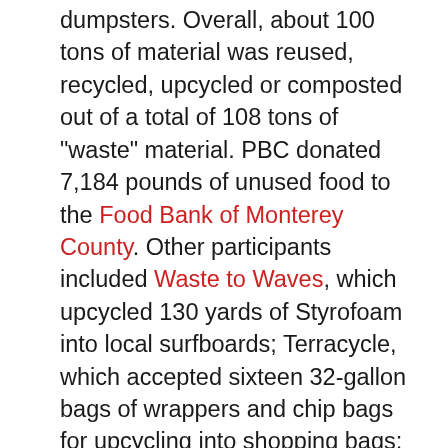dumpsters. Overall, about 100 tons of material was reused, recycled, upcycled or composted out of a total of 108 tons of "waste" material. PBC donated 7,184 pounds of unused food to the Food Bank of Monterey County. Other participants included Waste to Waves, which upcycled 130 yards of Styrofoam into local surfboards; Terracycle, which accepted sixteen 32-gallon bags of wrappers and chip bags for upcycling into shopping bags; and the Last Chance Mercantile at the Monterey Regional Waste Management District (MRWMD) landfill in Marina, Hope Services of Seaside and ASIL.com of Los Angeles, which accepted 62.6 tons of Astroturf, rope, wood/laminate flooring, e-waste and fence meshing for reuse or recycling. Ninety more yards of construction and demolition material also went to the MRWMD Materials Recovery Facility (MRF) for reuse or recycling, while 14,500 pounds of food waste went to the MRWMD's anaerobic digesters